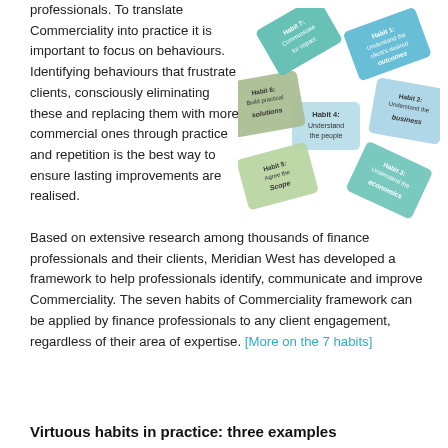professionals. To translate Commerciality into practice it is important to focus on behaviours. Identifying behaviours that frustrate clients, consciously eliminating these and replacing them with more commercial ones through practice and repetition is the best way to ensure lasting improvements are realised.
[Figure (infographic): A circular arrangement of seven habit cards in a flower/pinwheel layout. Each card (parallelogram-shaped) is labeled: Habit 1: Understand the client's desired outcomes (blue), Habit 2: Understand the business (light blue), Habit 3: Understand the economics (teal/green), Habit 4: Understand the people (light blue center), Habit 5: Agree the Scope (light green), Habit 6: Build practical solutions (sage green), Habit 7: Communicate for impact (teal).]
Based on extensive research among thousands of finance professionals and their clients, Meridian West has developed a framework to help professionals identify, communicate and improve Commerciality. The seven habits of Commerciality framework can be applied by finance professionals to any client engagement, regardless of their area of expertise. [More on the 7 habits]
Virtuous habits in practice: three examples